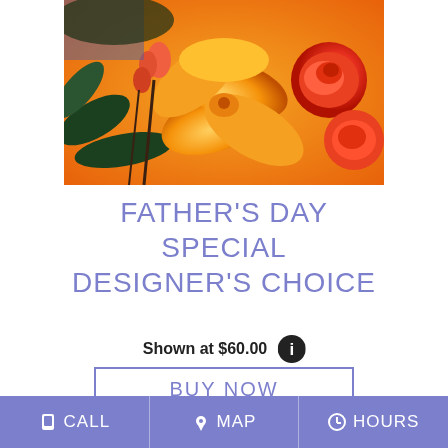[Figure (photo): Close-up photo of orange lilies, orange roses, and pink buds in a floral arrangement]
FATHER'S DAY SPECIAL DESIGNER'S CHOICE
Shown at $60.00
BUY NOW
CALL  MAP  HOURS